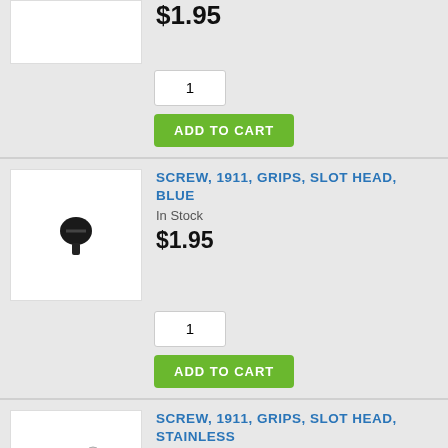$1.95
1
ADD TO CART
[Figure (photo): Product image of blued 1911 grip screw, slot head]
SCREW, 1911, GRIPS, SLOT HEAD, BLUE
In Stock
$1.95
1
ADD TO CART
[Figure (photo): Product image of stainless 1911 grip screw, slot head]
SCREW, 1911, GRIPS, SLOT HEAD, STAINLESS
In Stock
$1.95
[Figure (logo): McAfee SECURE badge]